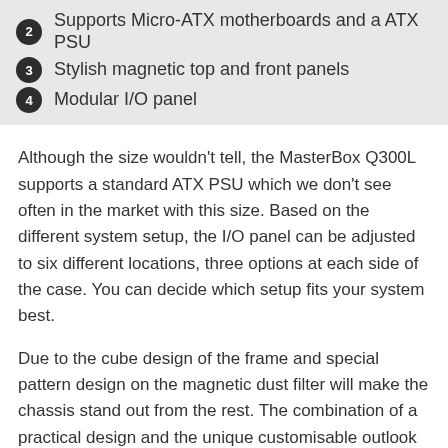2 Supports Micro-ATX motherboards and a ATX PSU
3 Stylish magnetic top and front panels
4 Modular I/O panel
Although the size wouldn't tell, the MasterBox Q300L supports a standard ATX PSU which we don't see often in the market with this size. Based on the different system setup, the I/O panel can be adjusted to six different locations, three options at each side of the case. You can decide which setup fits your system best.
Due to the cube design of the frame and special pattern design on the magnetic dust filter will make the chassis stand out from the rest. The combination of a practical design and the unique customisable outlook makes the MasterBox Q300L the perfect choice for office and home usage.
[Figure (photo): Bottom portion of a computer chassis/case showing the interior structure with mounting points and panels visible from above]